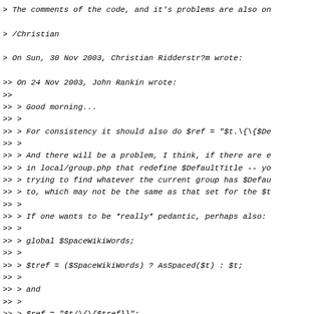> The comments of the code, and it's problems are also on
> /Christian
> On Sun, 30 Nov 2003, Christian Ridderstr?m wrote:
>> On 24 Nov 2003, John Rankin wrote:
>>
>> > Good morning...
>> >
>> > For consistency it should also do $ref = "$t.\{\{$De
>> >
>> > And there will be a problem, I think, if there are e
>> > in local/group.php that redefine $DefaultTitle -- yo
>> > trying to find whatever the current group has $Defau
>> > to, which may not be the same as that set for the $t
>> >
>> > If one wants to be *really* pedantic, perhaps also:
>> >
>> >    global $SpaceWikiWords;
>> >
>> >    $tref = ($SpaceWikiWords) ? AsSpaced($t) : $t;
>> >
>> > and
>> >
>> >    $ref = "$t/\{\{$tref}}";
>>
>> Ok... something like this? (What is local/group.php, .
>> I've also added a hack so that this works with selfre